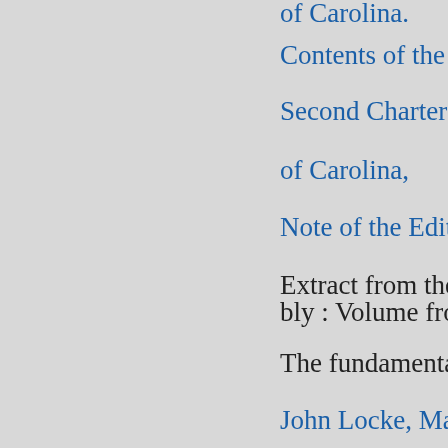of Carolina.
Contents of the second Charter o
Second Charter granted by Charl
of Carolina,
Note of the Editor.
Extract from the manuscript jour bly : Volume from 1702 to 1706.
The fundamental Constitutions o
John Locke, March 1, 1669.
Rules of Precedency. (Locke's Co
An Act for removing and preven concerning the assembling and s of the Settlement in South Caroli
An Act for supporting the presen ministration of the Honorable Ja Governor of the same, or any suc 1720.
An Act for establishing an agree